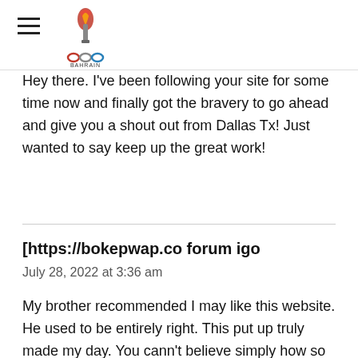Bahrain OOO [logo]
Hey there. I've been following your site for some time now and finally got the bravery to go ahead and give you a shout out from Dallas Tx! Just wanted to say keep up the great work!
[https://bokepwap.co forum igo
July 28, 2022 at 3:36 am
My brother recommended I may like this website. He used to be entirely right. This put up truly made my day. You cann't believe simply how so much time I had spent for this information! Thanks!